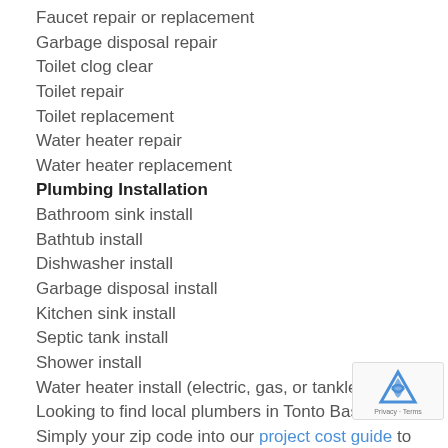Faucet repair or replacement
Garbage disposal repair
Toilet clog clear
Toilet repair
Toilet replacement
Water heater repair
Water heater replacement
Plumbing Installation
Bathroom sink install
Bathtub install
Dishwasher install
Garbage disposal install
Kitchen sink install
Septic tank install
Shower install
Water heater install (electric, gas, or tankless)
Looking to find local plumbers in Tonto Basin? Simply your zip code into our project cost guide to find your professional and receive a cost estimate. Hiring costs are